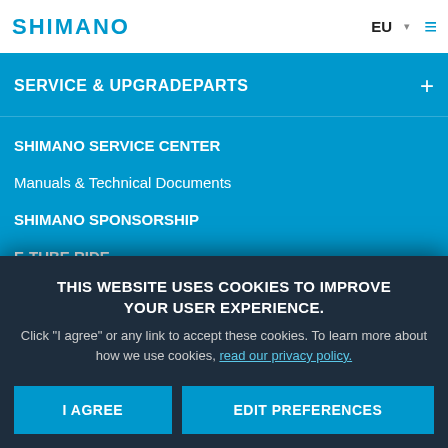SHIMANO | EU | ☰
SERVICE & UPGRADEPARTS
SHIMANO SERVICE CENTER
Manuals & Technical Documents
SHIMANO SPONSORSHIP
E-TUBE RIDE
E-TUBE PROJECT
SHIMANO CONNECT Lab
THIS WEBSITE USES COOKIES TO IMPROVE YOUR USER EXPERIENCE. Click "I agree" or any link to accept these cookies. To learn more about how we use cookies, read our privacy policy.
I AGREE | EDIT PREFERENCES